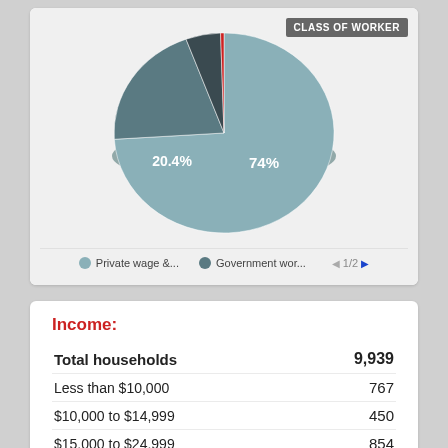[Figure (pie-chart): CLASS OF WORKER]
Income:
|  |  |
| --- | --- |
| Total households | 9,939 |
| Less than $10,000 | 767 |
| $10,000 to $14,999 | 450 |
| $15,000 to $24,999 | 854 |
| $25,000 to $34,999 | 1,254 |